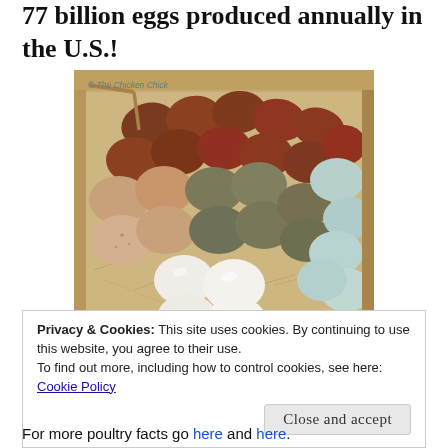77 billion eggs produced annually in the U.S.!
[Figure (photo): A wooden crate filled with eggs of various colors arranged in sections: dark brown/mahogany eggs in the upper left, light beige/tan eggs in the middle left, olive/khaki green eggs in the center, white eggs at the bottom center, and pale blue/mint eggs on the right. Watermark reads '© The Chicken Chick'.]
Privacy & Cookies: This site uses cookies. By continuing to use this website, you agree to their use.
To find out more, including how to control cookies, see here:
Cookie Policy
Close and accept
For more poultry facts go here and here.